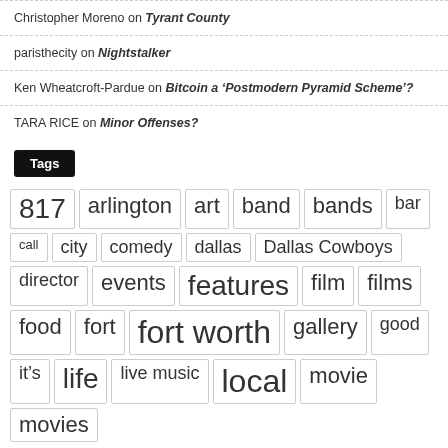Christopher Moreno on Tyrant County
paristhecity on Nightstalker
Ken Wheatcroft-Pardue on Bitcoin a ‘Postmodern Pyramid Scheme’?
TARA RICE on Minor Offenses?
Tags
817 arlington art band bands bar call city comedy dallas Dallas Cowboys director events features film films food fort fort worth gallery good it’s life live music local movie movies